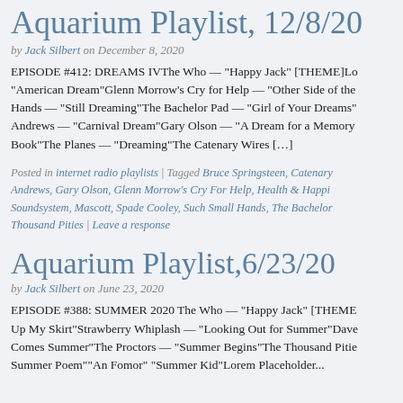Aquarium Playlist, 12/8/20
by Jack Silbert on December 8, 2020
EPISODE #412: DREAMS IVThe Who — "Happy Jack" [THEME]Lo... "American Dream"Glenn Morrow's Cry for Help — "Other Side of the... Hands — "Still Dreaming"The Bachelor Pad — "Girl of Your Dreams"... Andrews — "Carnival Dream"Gary Olson — "A Dream for a Memory... Book"The Planes — "Dreaming"The Catenary Wires […]
Posted in internet radio playlists | Tagged Bruce Springsteen, Catenary... Andrews, Gary Olson, Glenn Morrow's Cry For Help, Health & Happi... Soundsystem, Mascott, Spade Cooley, Such Small Hands, The Bachelor... Thousand Pities | Leave a response
Aquarium Playlist,6/23/20
by Jack Silbert on June 23, 2020
EPISODE #388: SUMMER 2020 The Who — "Happy Jack" [THEME... Up My Skirt"Strawberry Whiplash — "Looking Out for Summer"Dave... Comes Summer"The Proctors — "Summer Begins"The Thousand Pitie... Summer Poem""An Fomor" "Summer Kid"Lorem Placeholder...